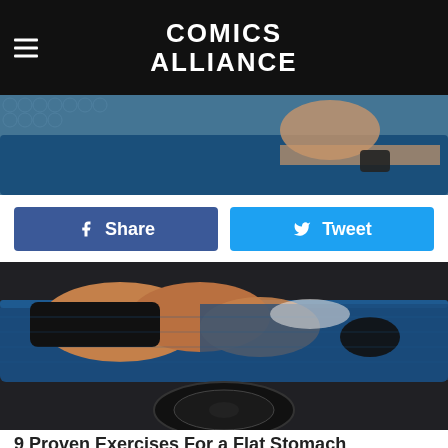Comics Alliance
[Figure (photo): Partial view of a person exercising on a blue mat with bubble wrap background — cropped torso/legs, wearing black gloves]
[Figure (infographic): Share and Tweet social media buttons — dark blue Facebook Share button and light blue Twitter Tweet button]
[Figure (photo): Close-up photo of a person lying on a blue exercise mat with a weight plate visible, performing core exercises]
9 Proven Exercises For a Flat Stomach
OMGIFacts
[Figure (photo): Cyclist wearing white helmet and dark jersey riding a bike against a blue sky with trees in background]